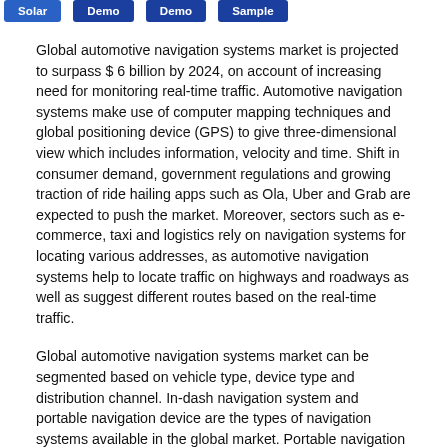Solar | Demo | Demo | Sample
Global automotive navigation systems market is projected to surpass $ 6 billion by 2024, on account of increasing need for monitoring real-time traffic. Automotive navigation systems make use of computer mapping techniques and global positioning device (GPS) to give three-dimensional view which includes information, velocity and time. Shift in consumer demand, government regulations and growing traction of ride hailing apps such as Ola, Uber and Grab are expected to push the market. Moreover, sectors such as e-commerce, taxi and logistics rely on navigation systems for locating various addresses, as automotive navigation systems help to locate traffic on highways and roadways as well as suggest different routes based on the real-time traffic.
Global automotive navigation systems market can be segmented based on vehicle type, device type and distribution channel. In-dash navigation system and portable navigation device are the types of navigation systems available in the global market. Portable navigation device is anticipated to acquire the majority share during the forecast period as they are lower in cost and can be moved